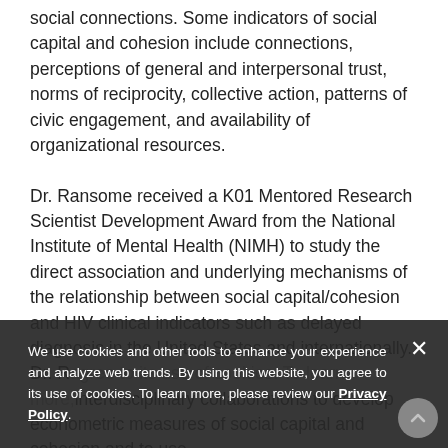social connections. Some indicators of social capital and cohesion include connections, perceptions of general and interpersonal trust, norms of reciprocity, collective action, patterns of civic engagement, and availability of organizational resources.

Dr. Ransome received a K01 Mentored Research Scientist Development Award from the National Institute of Mental Health (NIMH) to study the direct association and underlying mechanisms of the relationship between social capital/cohesion and HIV clinical indicators such as delayed diagnosis in the United States and internationally. Dr. R[...] interdisciplinary collaborations to develop econometric measures of social capital and cohesion and to use
We use cookies and other tools to enhance your experience and analyze web trends. By using this website, you agree to its use of cookies. To learn more, please review our Privacy Policy.